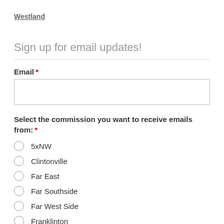Westland
Sign up for email updates!
Email *
Select the commission you want to receive emails from: *
5xNW
Clintonville
Far East
Far Southside
Far West Side
Franklinton